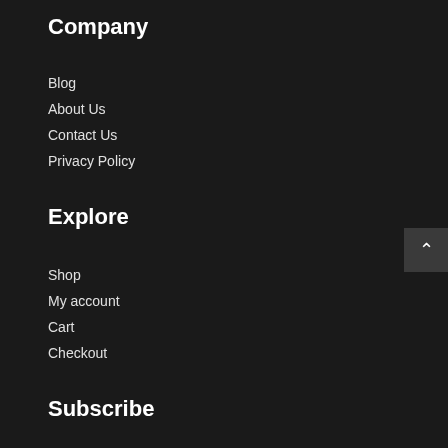Company
Blog
About Us
Contact Us
Privacy Policy
Explore
Shop
My account
Cart
Checkout
Subscribe